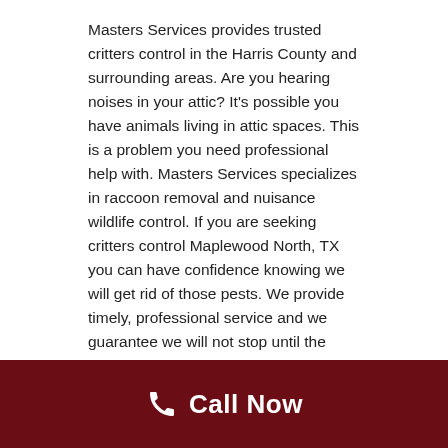Masters Services provides trusted critters control in the Harris County and surrounding areas. Are you hearing noises in your attic? It's possible you have animals living in attic spaces. This is a problem you need professional help with. Masters Services specializes in raccoon removal and nuisance wildlife control. If you are seeking critters control Maplewood North, TX you can have confidence knowing we will get rid of those pests. We provide timely, professional service and we guarantee we will not stop until the wildlife pest is gone.
What to do if you suspect you have a raccoon problem in Maplewood North
If you suspect that you have raccoon activity in your
[Figure (other): Dark red call-to-action bar at bottom with phone icon and 'Call Now' text in white]